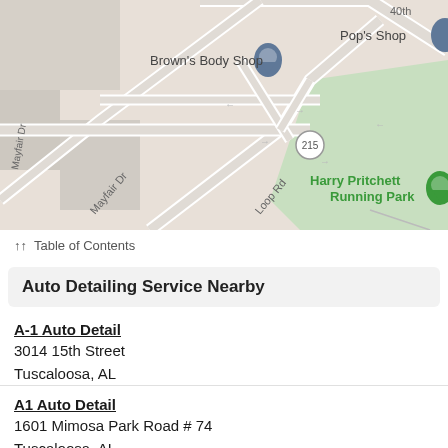[Figure (map): Google Maps style street map showing Brown's Body Shop, Pop's Shop, Harry Pritchett Running Park, roads including Mayfair Dr, Loop Rd, and highway 215.]
↑↑ Table of Contents
Auto Detailing Service Nearby
A-1 Auto Detail
3014 15th Street
Tuscaloosa, AL
A1 Auto Detail
1601 Mimosa Park Road # 74
Tuscaloosa, AL